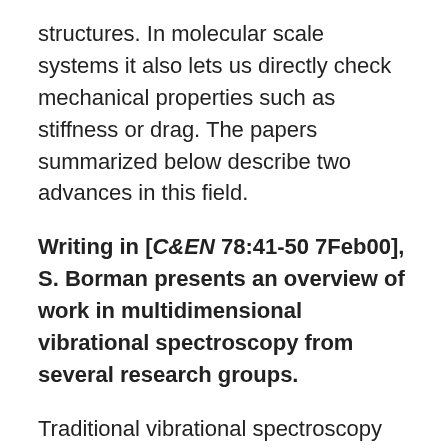structures. In molecular scale systems it also lets us directly check mechanical properties such as stiffness or drag. The papers summarized below describe two advances in this field.
Writing in [C&EN 78:41-50 7Feb00], S. Borman presents an overview of work in multidimensional vibrational spectroscopy from several research groups.
Traditional vibrational spectroscopy looks at absorption of infrared light in a sample as a function of one frequency. For small molecules, it is possible to interpret the peaks in the absorption as being due to specific vibrational modes in the